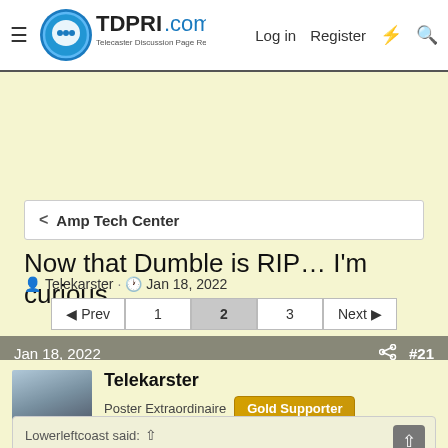TDPRI.com — Telecaster Discussion Page Reissue | Log in | Register
Amp Tech Center
Now that Dumble is RIP… I'm curious
Telekarster · Jan 18, 2022
Prev 1 2 3 Next
Jan 18, 2022 #21
Telekarster
Poster Extraordinaire  Gold Supporter
Lowerleftcoast said:
I would be more concerned with someone pilfering the thing while in